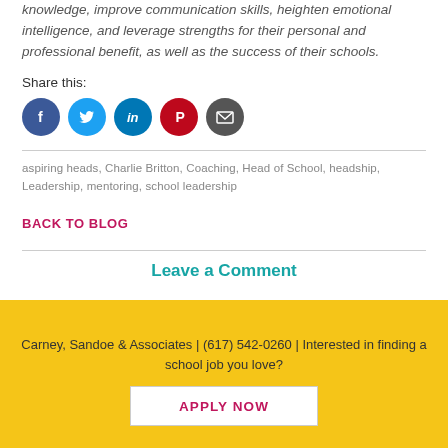knowledge, improve communication skills, heighten emotional intelligence, and leverage strengths for their personal and professional benefit, as well as the success of their schools.
Share this:
[Figure (infographic): Row of five social media circular icon buttons: Facebook (dark blue), Twitter (light blue), LinkedIn (medium blue), Pinterest (red), Email (dark gray)]
aspiring heads, Charlie Britton, Coaching, Head of School, headship, Leadership, mentoring, school leadership
BACK TO BLOG
Leave a Comment
Carney, Sandoe & Associates | (617) 542-0260 | Interested in finding a school job you love?
APPLY NOW